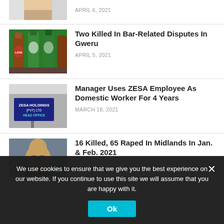[Figure (photo): Partial photo visible at top, cropped]
APRIL 6, 2021
[Figure (photo): Photo of beer bottles including Lion Lager and other brands]
Two Killed In Bar-Related Disputes In Gweru
APRIL 5, 2021
[Figure (photo): Photo of ZESA Holdings (PVT) LTD Head Office sign]
Manager Uses ZESA Employee As Domestic Worker For 4 Years
MARCH 18, 2021
[Figure (photo): Photo of an elderly man smiling, partially visible]
16 Killed, 65 Raped In Midlands In Jan. & Feb. 2021
We use cookies to ensure that we give you the best experience on our website. If you continue to use this site we will assume that you are happy with it.